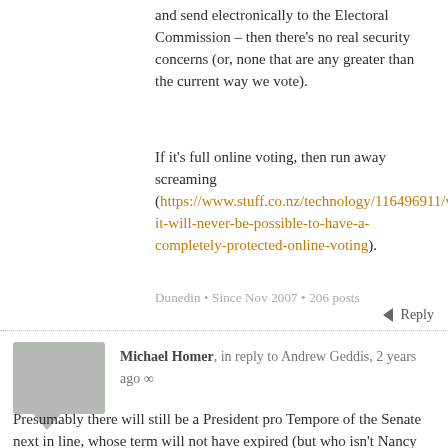and send electronically to the Electoral Commission – then there's no real security concerns (or, none that are any greater than the current way we vote).
If it's full online voting, then run away screaming (https://www.stuff.co.nz/technology/116496911/why-it-will-never-be-possible-to-have-a-completely-protected-online-voting).
Dunedin • Since Nov 2007 • 206 posts
Reply
Michael Homer, in reply to Andrew Geddis, 2 years ago ∞
Presumably there will still be a President pro Tempore of the Senate next in line, whose term will not have expired (but who isn't Nancy Pelosi and is 87 years old, though they could elect someone else in the gap).
Wellington • Since Nov 2006 • 85 posts
Reply